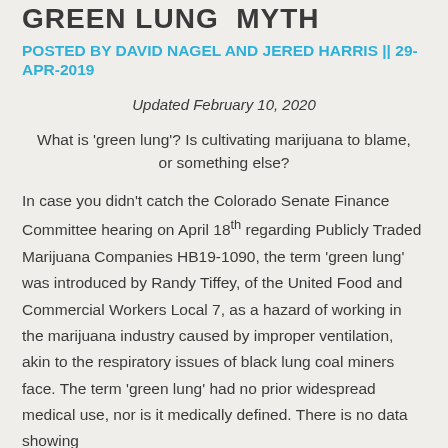GREEN LUNG MYTH
POSTED BY DAVID NAGEL AND JERED HARRIS || 29-APR-2019
Updated February 10, 2020
What is ‘green lung’? Is cultivating marijuana to blame, or something else?
In case you didn’t catch the Colorado Senate Finance Committee hearing on April 18th regarding Publicly Traded Marijuana Companies HB19-1090, the term ‘green lung’ was introduced by Randy Tiffey, of the United Food and Commercial Workers Local 7, as a hazard of working in the marijuana industry caused by improper ventilation, akin to the respiratory issues of black lung coal miners face. The term ‘green lung’ had no prior widespread medical use, nor is it medically defined. There is no data showing